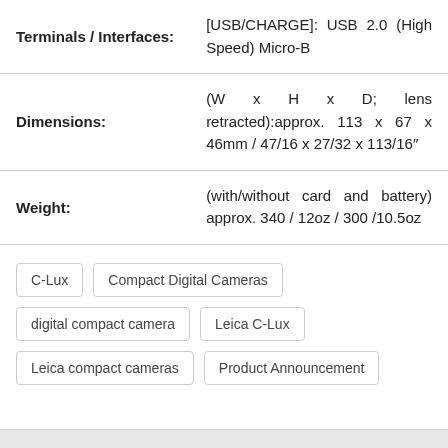| Attribute | Value |
| --- | --- |
| Terminals / Interfaces: | [USB/CHARGE]: USB 2.0 (High Speed) Micro-B |
| Dimensions: | (W x H x D; lens retracted):approx. 113 x 67 x 46mm / 47/16 x 27/32 x 113/16" |
| Weight: | (with/without card and battery) approx. 340 / 12oz / 300 /10.5oz |
C-Lux
Compact Digital Cameras
digital compact camera
Leica C-Lux
Leica compact cameras
Product Announcement